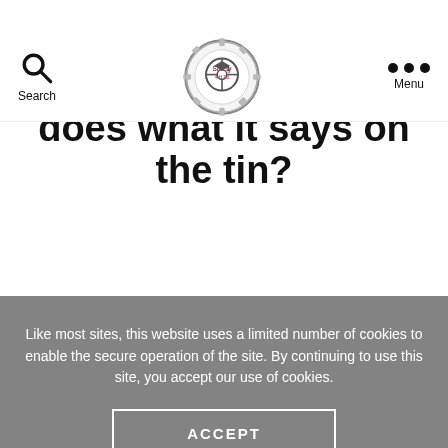Search | Safety 4 H Ed logo | Menu
RESOURCES
Chemical Labels – It does what it says on the tin?
Like most sites, this website uses a limited number of cookies to enable the secure operation of the site. By continuing to use this site, you accept our use of cookies.
ACCEPT